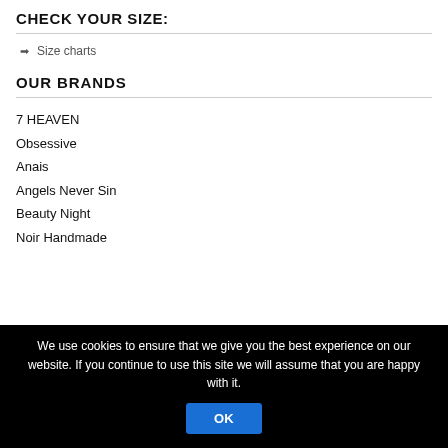CHECK YOUR SIZE:
⬧ Size charts
OUR BRANDS
7 HEAVEN
Obsessive
Anais
Angels Never Sin
Beauty Night
Noir Handmade
We use cookies to ensure that we give you the best experience on our website. If you continue to use this site we will assume that you are happy with it.